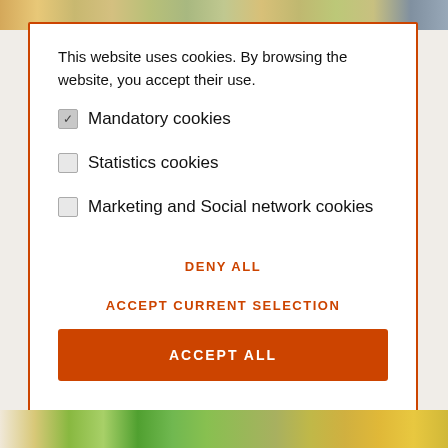[Figure (photo): Top decorative image strip showing colorful birds and foliage]
This website uses cookies. By browsing the website, you accept their use.
Mandatory cookies (checked)
Statistics cookies (unchecked)
Marketing and Social network cookies (unchecked)
DENY ALL
ACCEPT CURRENT SELECTION
ACCEPT ALL
[Figure (photo): Bottom decorative image strip showing colorful parrots and greenery]